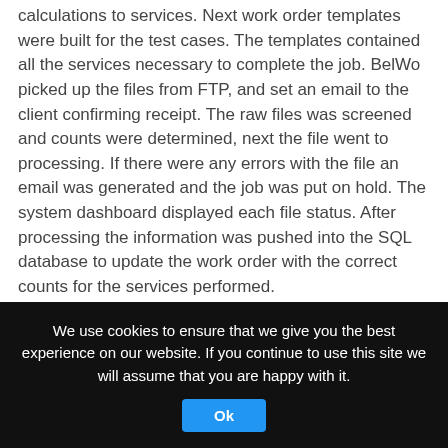calculations to services. Next work order templates were built for the test cases. The templates contained all the services necessary to complete the job. BelWo picked up the files from FTP, and set an email to the client confirming receipt. The raw files was screened and counts were determined, next the file went to processing. If there were any errors with the file an email was generated and the job was put on hold. The system dashboard displayed each file status. After processing the information was pushed into the SQL database to update the work order with the correct counts for the services performed.
After processing, most of the jobs needed to go to proof approval prior to release to production. BelWo developed an Online Client Proofing Portal to expedite the process. The end user received an email when the proofs were available. Clients
We use cookies to ensure that we give you the best experience on our website. If you continue to use this site we will assume that you are happy with it.